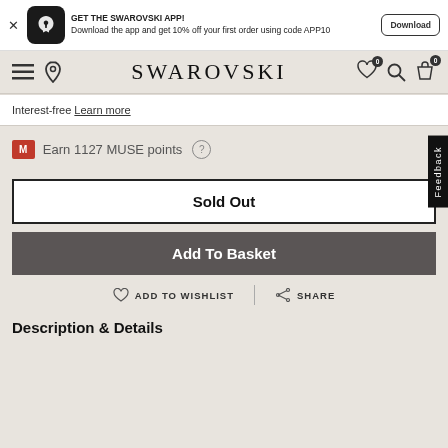GET THE SWAROVSKI APP! Download the app and get 10% off your first order using code APP10 Download
SWAROVSKI
Interest-free Learn more
M Earn 1127 MUSE points ?
Sold Out
Add To Basket
ADD TO WISHLIST | SHARE
Description & Details